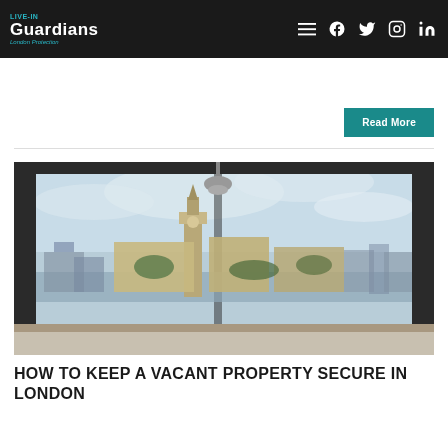vacant for an extended period, it is crucial to ensure it is adequately protected.
Live-in Guardians — Navigation bar with logo and social icons
Read More
[Figure (photo): View of London skyline including Big Ben and Houses of Parliament, seen through a large window frame from an interior space with overhead lamp visible at top.]
HOW TO KEEP A VACANT PROPERTY SECURE IN LONDON